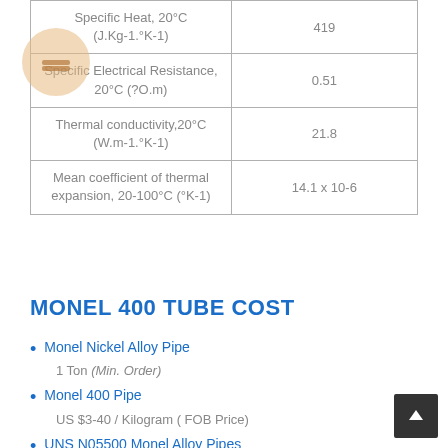| Property | Value |
| --- | --- |
| Specific Heat, 20°C (J.Kg-1.°K-1) | 419 |
| Specific Electrical Resistance, 20°C (?O.m) | 0.51 |
| Thermal conductivity,20°C (W.m-1.°K-1) | 21.8 |
| Mean coefficient of thermal expansion, 20-100°C (°K-1) | 14.1 x 10-6 |
MONEL 400 TUBE COST
Monel Nickel Alloy Pipe
1 Ton (Min. Order)
Monel 400 Pipe
US $3-40 / Kilogram ( FOB Price)
UNS N05500 Monel Alloy Pipes
25 Pieces (Min. Order)
Monel seamless pipe